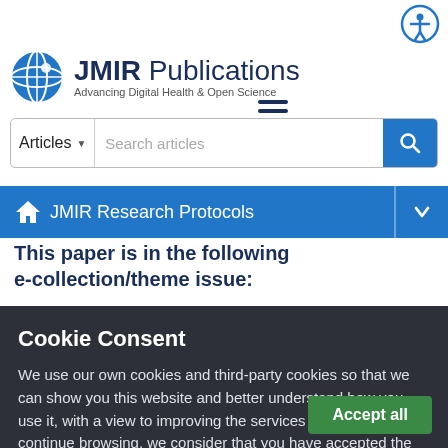[Figure (logo): JMIR Publications logo with globe icon and tagline 'Advancing Digital Health & Open Science']
Articles (dropdown) | Search articles (search box with search button)
JMIR Research Protocols
This paper is in the following e-collection/theme issue:
Cookie Consent
We use our own cookies and third-party cookies so that we can show you this website and better understand how you use it, with a view to improving the services we offer. If you continue browsing, we consider that you have accepted the cookies.
Accept all